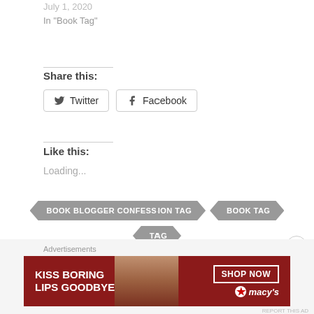July 1, 2020
In "Book Tag"
Share this:
Twitter   Facebook
Like this:
Loading...
BOOK BLOGGER CONFESSION TAG
BOOK TAG
TAG
Advertisements
[Figure (photo): Macy's advertisement banner: KISS BORING LIPS GOODBYE with SHOP NOW button and Macy's logo, featuring a woman's face]